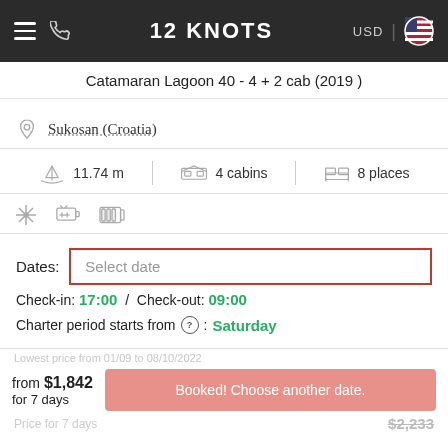12 KNOTS — USD
Catamaran Lagoon 40 - 4 + 2 cab (2019 )
Sukosan (Croatia)
11.74 m | 4 cabins | 8 places
Dates: Select date
Check-in: 17:00 / Check-out: 09:00
Charter period starts from (?): Saturday
from $1,842 for 7 days
Booked! Choose another date.
$2,233